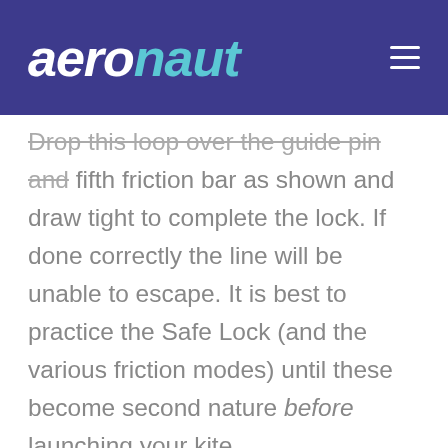aeronaut
Drop this loop over the guide pin and fifth friction bar as shown and draw tight to complete the lock. If done correctly the line will be unable to escape. It is best to practice the Safe Lock (and the various friction modes) until these become second nature before launching your kite.